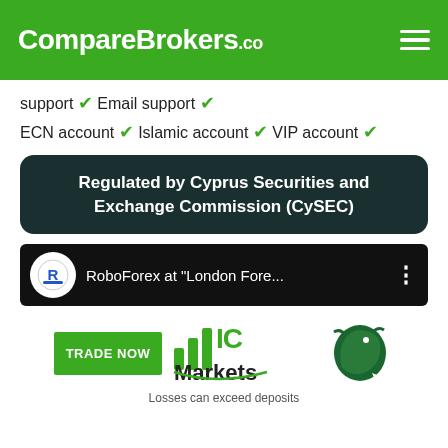CompareBrokers.co
support ✓ Email support ✓
ECN account ✓ Islamic account ✓ VIP account ✓
Regulated by Cyprus Securities and Exchange Commission (CySEC)
[Figure (screenshot): RoboForex at 'London Fore...' video preview strip on dark background with RoboForex logo icon and three-dot menu]
[Figure (logo): IC Markets logo with bar chart icon and green bull logo. TRADE NOW button in green. Text: Losses can exceed deposits]